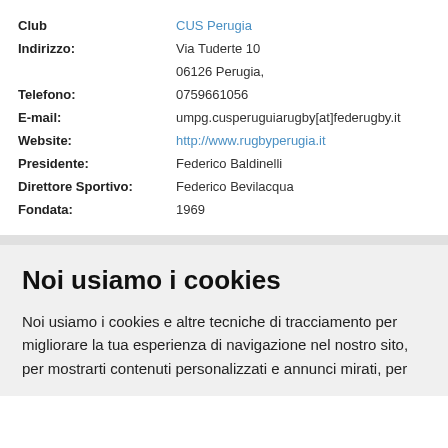| Club | CUS Perugia |
| Indirizzo: | Via Tuderte 10
06126 Perugia, |
| Telefono: | 0759661056 |
| E-mail: | umpg.cusperuguiarugby[at]federugby.it |
| Website: | http://www.rugbyperugia.it |
| Presidente: | Federico Baldinelli |
| Direttore Sportivo: | Federico Bevilacqua |
| Fondata: | 1969 |
Noi usiamo i cookies
Noi usiamo i cookies e altre tecniche di tracciamento per migliorare la tua esperienza di navigazione nel nostro sito, per mostrarti contenuti personalizzati e annunci mirati, per